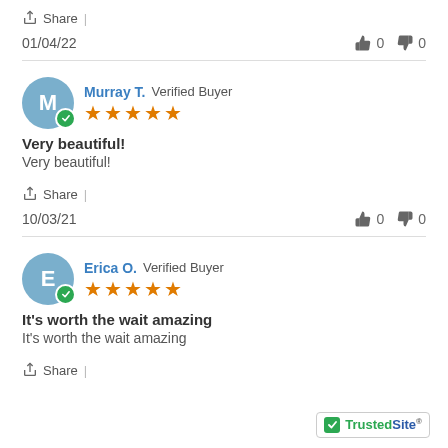Share |
01/04/22   👍 0  👎 0
Murray T. Verified Buyer ★★★★★
Very beautiful!
Very beautiful!
Share |
10/03/21   👍 0  👎 0
Erica O. Verified Buyer ★★★★★
It's worth the wait amazing
It's worth the wait amazing
Share |
[Figure (logo): TrustedSite badge with green checkmark]